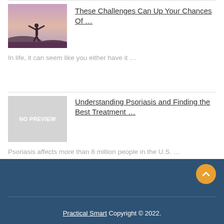[Figure (photo): Person silhouetted on a rocky hilltop with arms raised against a purple/pink sunset sky]
These Challenges Can Up Your Chances Of …
In life, it can seem like you either have it …
[Figure (other): No preview placeholder image with text 'NO PREVIEW']
Understanding Psoriasis and Finding the Best Treatment …
Psoriasis affects more than 8 million people in the U.S. …
Practical Smart Copyright © 2022.